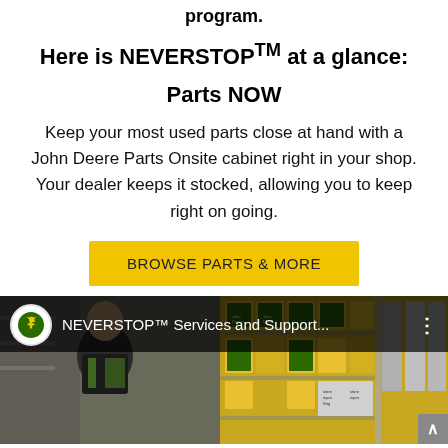program.
Here is NEVERSTOP™ at a glance:
Parts NOW
Keep your most used parts close at hand with a John Deere Parts Onsite cabinet right in your shop. Your dealer keeps it stocked, allowing you to keep right on going.
BROWSE PARTS & MORE
[Figure (screenshot): YouTube-style video thumbnail showing a John Deere branded video titled 'NEVERSTOP™ Services and Support...' with a man in John Deere work wear in front of shelving with yellow John Deere branded boxes. John Deere logo circle on left.]